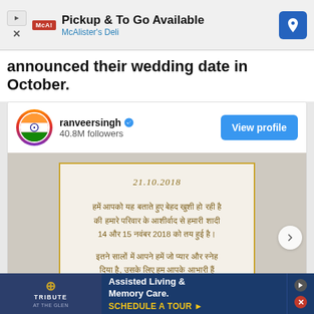[Figure (screenshot): Top advertisement banner: McAlister's Deli - Pickup & To Go Available]
announced their wedding date in October.
[Figure (screenshot): Instagram post by ranveersingh (40.8M followers, verified) showing a wedding invitation card dated 21.10.2018 with Hindi text announcing their wedding on 14 and 15 November 2018]
[Figure (screenshot): Bottom advertisement banner: Tribute At The Glen - Assisted Living & Memory Care. Schedule A Tour.]